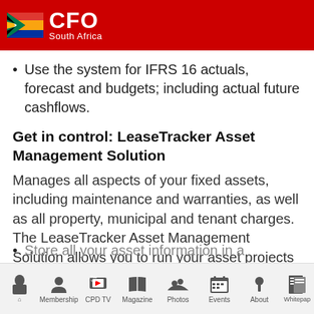CFO South Africa
Use the system for IFRS 16 actuals, forecast and budgets; including actual future cashflows.
Get in control: LeaseTracker Asset Management Solution
Manages all aspects of your fixed assets, including maintenance and warranties, as well as all property, municipal and tenant charges. The LeaseTracker Asset Management Solution allows you to run your asset projects seamlessly and without hassle.
Store all your asset information in a systematic and
Home | Membership | CPD TV | Magazine | Photos | Events | About | Whitepaper